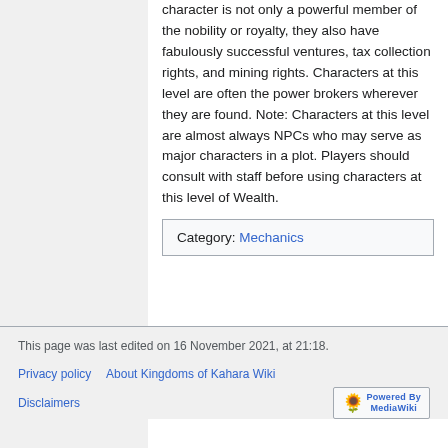character is not only a powerful member of the nobility or royalty, they also have fabulously successful ventures, tax collection rights, and mining rights. Characters at this level are often the power brokers wherever they are found. Note: Characters at this level are almost always NPCs who may serve as major characters in a plot. Players should consult with staff before using characters at this level of Wealth.
Category: Mechanics
This page was last edited on 16 November 2021, at 21:18.
Privacy policy   About Kingdoms of Kahara Wiki   Disclaimers